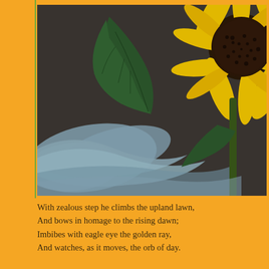[Figure (photo): Close-up photograph of a sunflower with bright yellow petals on the right side and a dark center, a large green leaf in the upper middle area, and a soft blue-grey flower or fabric element in the lower left. The background is dark grey/brown.]
With zealous step he climbs the upland lawn,
And bows in homage to the rising dawn;
Imbibes with eagle eye the golden ray,
And watches, as it moves, the orb of day.